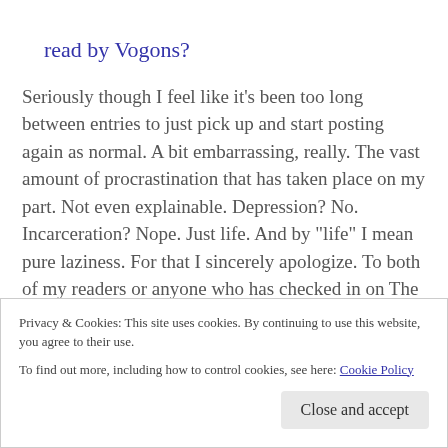read by Vogons?
Seriously though I feel like it’s been too long between entries to just pick up and start posting again as normal. A bit embarrassing, really. The vast amount of procrastination that has taken place on my part. Not even explainable. Depression? No. Incarceration? Nope. Just life. And by “life” I mean pure laziness. For that I sincerely apologize. To both of my readers or anyone who has checked in on The Grass Is Dead and found
Privacy & Cookies: This site uses cookies. By continuing to use this website, you agree to their use.
To find out more, including how to control cookies, see here: Cookie Policy